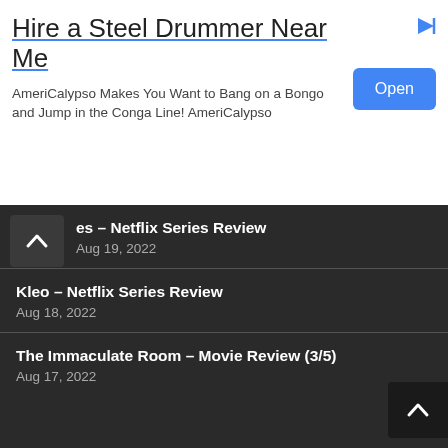[Figure (screenshot): Advertisement banner: 'Hire a Steel Drummer Near Me' with Open button]
Hire a Steel Drummer Near Me
AmeriCalypso Makes You Want to Bang on a Bongo and Jump in the Conga Line! AmeriCalypso
es – Netflix Series Review
Aug 19, 2022
Kleo – Netflix Series Review
Aug 18, 2022
The Immaculate Room – Movie Review (3/5)
Aug 17, 2022